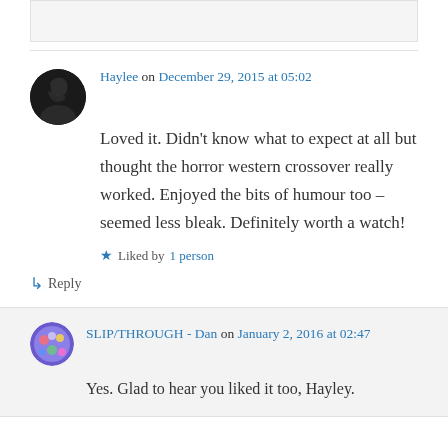Haylee on December 29, 2015 at 05:02
Loved it. Didn't know what to expect at all but thought the horror western crossover really worked. Enjoyed the bits of humour too – seemed less bleak. Definitely worth a watch!
★ Liked by 1 person
↳ Reply
SLIP/THROUGH - Dan on January 2, 2016 at 02:47
Yes. Glad to hear you liked it too, Hayley.